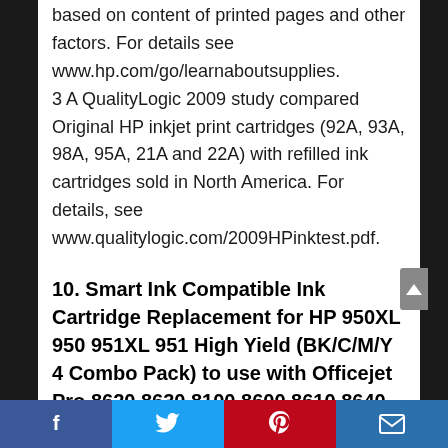based on content of printed pages and other factors. For details see www.hp.com/go/learnaboutsupplies. 3 A QualityLogic 2009 study compared Original HP inkjet print cartridges (92A, 93A, 98A, 95A, 21A and 22A) with refilled ink cartridges sold in North America. For details, see www.qualitylogic.com/2009HPinktest.pdf.
10. Smart Ink Compatible Ink Cartridge Replacement for HP 950XL 950 951XL 951 High Yield (BK/C/M/Y 4 Combo Pack) to use with Officejet Pro 8620 8630 8100 8600 8610 8640 8625 251DW 276DW 8660 8615